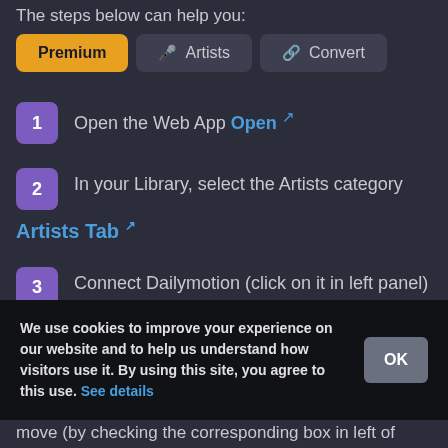The steps below can help you:
[Figure (screenshot): Tab bar with three tabs: Premium (active, orange background), Artists (microphone icon), Convert (link icon)]
1 Open the Web App Open [external link]
2 In your Library, select the Artists category
Artists Tab [external link]
3 Connect Dailymotion (click on it in left panel)
We use cookies to improve your experience on our website and to help us understand how visitors use it. By using this site, you agree to this use. See details
move (by checking the corresponding box in left of